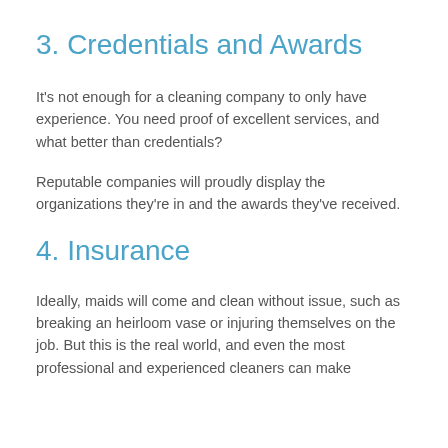3. Credentials and Awards
It's not enough for a cleaning company to only have experience. You need proof of excellent services, and what better than credentials?
Reputable companies will proudly display the organizations they're in and the awards they've received.
4. Insurance
Ideally, maids will come and clean without issue, such as breaking an heirloom vase or injuring themselves on the job. But this is the real world, and even the most professional and experienced cleaners can make